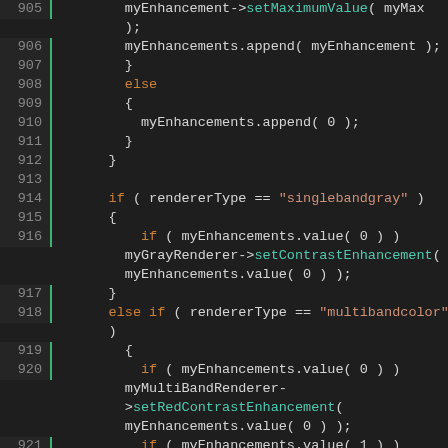[Figure (screenshot): Source code screenshot showing C++ code lines 905-926 with syntax highlighting. Code involves myEnhancements, rendererType checks for singlebandgray and multibandcolor, and setting contrast enhancements for gray, red, green, and blue renderers.]